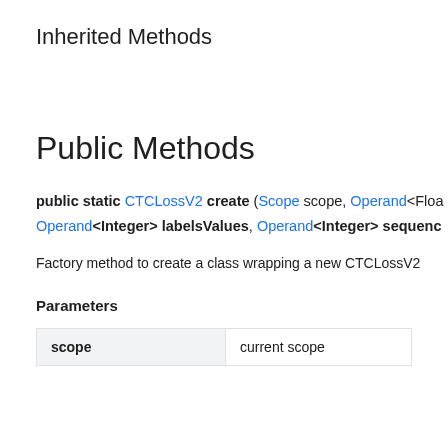Inherited Methods
Public Methods
public static CTCLossV2 create (Scope scope, Operand<Floa Operand<Integer> labelsValues, Operand<Integer> sequenceLengths
Factory method to create a class wrapping a new CTCLossV2
Parameters
|  |  |
| --- | --- |
| scope | current scope |